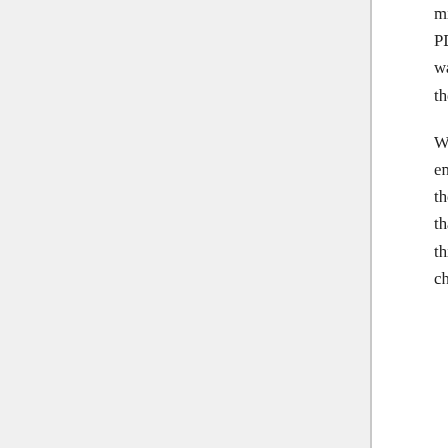mixed two immiscible liquids in a similar T-junction microfluidic circuit, made from PDMS using soft lithography [2]. Stone and coworkers used oil (hexadecane) and water to make the emulsion, including a surfactant to lower the surface tension between the two liquids in order to stabilize droplets.
Water droplets in the oil emulsion were flowed toward the T-junction, where they encountered a stagnation point at the intersection (Figure 1). Under certain conditions, the droplets would simply flow into one of the two side channels -- the authors mention that unbroken droplets in fact precisely alternate which channel they choose, although this phenomenon appears non-trivial to me. Perhaps when a given droplet selects one channel, it increases the fluidic